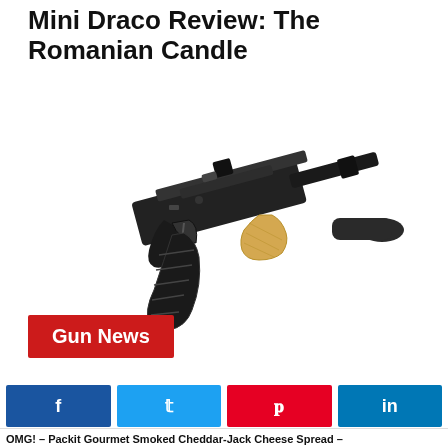Mini Draco Review: The Romanian Candle
May 6, 2022
[Figure (photo): Photo of a Mini Draco pistol (AK-style) with wood foregrip, curved magazine, and a suppressor/muzzle device attached, shown on white background at a diagonal angle.]
Gun News
OMG! – Packit Gourmet Smoked Cheddar-Jack Cheese Spread –